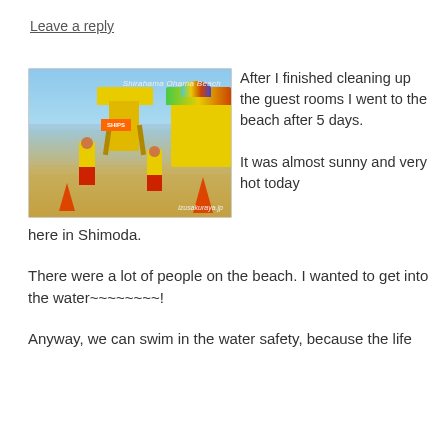Leave a reply
[Figure (photo): Beach scene at Shirahama Ohama Beach showing lifeguard station with yellow tower, lifeguards in yellow shirts and red shorts, traffic cones, colorful beach umbrellas. Watermark reads 'izusakuraya.jp'.]
After I finished cleaning up the guest rooms I went to the beach after 5 days.

It was almost sunny and very hot today here in Shimoda.
There were a lot of people on the beach. I wanted to get into the water~~~~~~~~!
Anyway, we can swim in the water safety, because the life